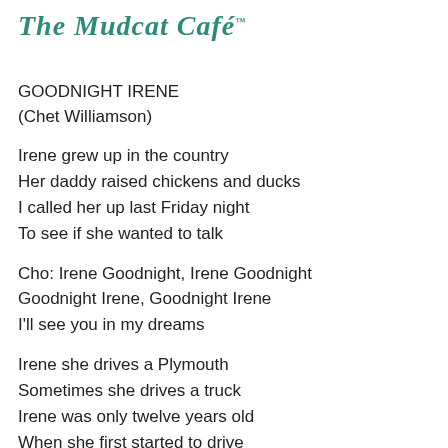The Mudcat Café
GOODNIGHT IRENE
(Chet Williamson)
Irene grew up in the country
Her daddy raised chickens and ducks
I called her up last Friday night
To see if she wanted to talk
Cho: Irene Goodnight, Irene Goodnight
Goodnight Irene, Goodnight Irene
I'll see you in my dreams
Irene she drives a Plymouth
Sometimes she drives a truck
Irene was only twelve years old
When she first started to drive
Irene wins money at gambling
She's always had plenty of luck
One night out back of the barroom
A cowboy showed Irene his horse